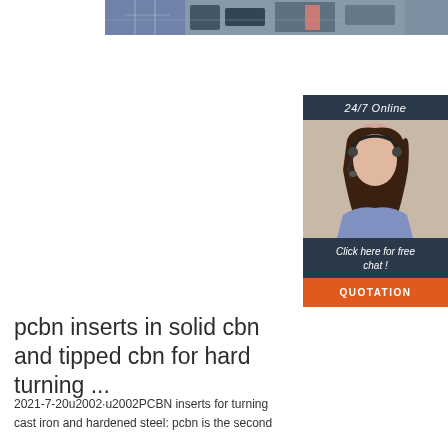[Figure (photo): Top banner photo showing industrial/factory scene with scaffolding and equipment]
[Figure (photo): Sidebar advertisement with woman wearing headset (customer support), dark navy background. Shows '24/7 Online', 'Click here for free chat!', and 'QUOTATION' button in orange.]
pcbn inserts in solid cbn and tipped cbn for hard turning ...
2021-7-20u2002·u2002PCBN inserts for turning cast iron and hardened steel: pcbn is the second hardest material in the world, and cbn related high...